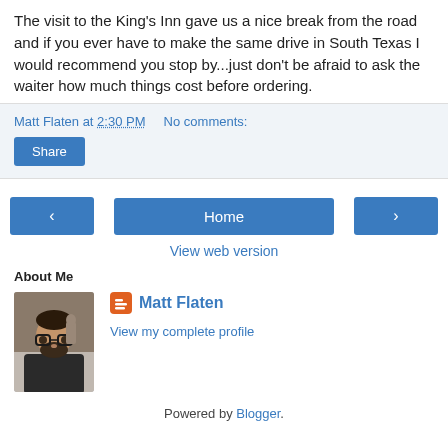The visit to the King's Inn gave us a nice break from the road and if you ever have to make the same drive in South Texas I would recommend you stop by...just don't be afraid to ask the waiter how much things cost before ordering.
Matt Flaten at 2:30 PM   No comments:
Share
‹  Home  ›
View web version
About Me
[Figure (photo): Profile photo of Matt Flaten, a man with glasses and a beard, indoors.]
Matt Flaten
View my complete profile
Powered by Blogger.